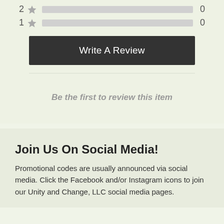[Figure (other): Rating row: 2 stars with empty gray bar and count 0]
[Figure (other): Rating row: 1 star with empty gray bar and count 0]
Write A Review
Be the first to review this item
Join Us On Social Media!
Promotional codes are usually announced via social media. Click the Facebook and/or Instagram icons to join our Unity and Change, LLC social media pages.